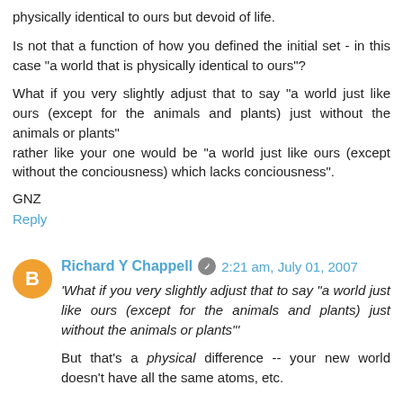physically identical to ours but devoid of life.
Is not that a function of how you defined the initial set - in this case "a world that is physically identical to ours"?
What if you very slightly adjust that to say "a world just like ours (except for the animals and plants) just without the animals or plants"
rather like your one would be "a world just like ours (except without the conciousness) which lacks conciousness".
GNZ
Reply
Richard Y Chappell  2:21 am, July 01, 2007
'What if you very slightly adjust that to say "a world just like ours (except for the animals and plants) just without the animals or plants"'
But that's a physical difference -- your new world doesn't have all the same atoms, etc.